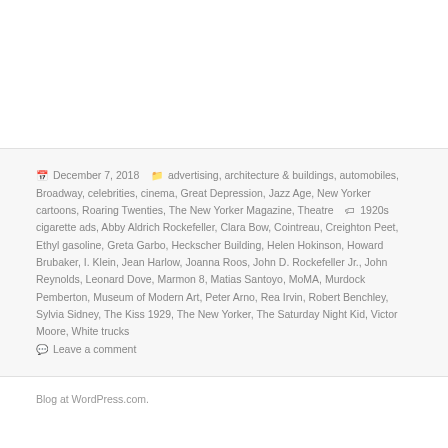📅 December 7, 2018  🗂 advertising, architecture & buildings, automobiles, Broadway, celebrities, cinema, Great Depression, Jazz Age, New Yorker cartoons, Roaring Twenties, The New Yorker Magazine, Theatre  🏷 1920s cigarette ads, Abby Aldrich Rockefeller, Clara Bow, Cointreau, Creighton Peet, Ethyl gasoline, Greta Garbo, Heckscher Building, Helen Hokinson, Howard Brubaker, I. Klein, Jean Harlow, Joanna Roos, John D. Rockefeller Jr., John Reynolds, Leonard Dove, Marmon 8, Matias Santoyo, MoMA, Murdock Pemberton, Museum of Modern Art, Peter Arno, Rea Irvin, Robert Benchley, Sylvia Sidney, The Kiss 1929, The New Yorker, The Saturday Night Kid, Victor Moore, White trucks  💬 Leave a comment
Blog at WordPress.com.